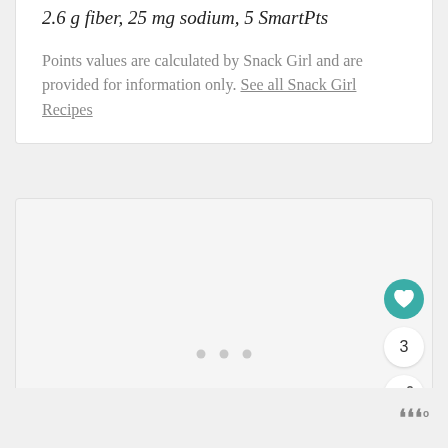2.6 g fiber, 25 mg sodium, 5 SmartPts
Points values are calculated by Snack Girl and are provided for information only. See all Snack Girl Recipes
[Figure (screenshot): A light gray content card with three gray dots in the center indicating a loading carousel, and action buttons on the right side: a teal heart/favorite button, a white circle showing the number 3, and a white share button with a share icon.]
[Figure (logo): A small logo in bottom right showing stylized 'W' characters followed by a degree symbol, in gray color]